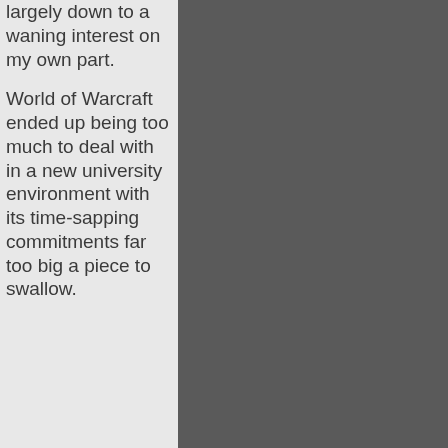largely down to a waning interest on my own part.
World of Warcraft ended up being too much to deal with in a new university environment with its time-sapping commitments far too big a piece to swallow.